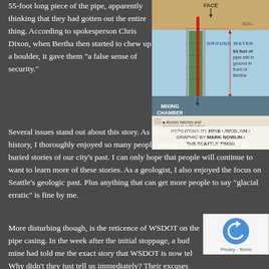55-foot long piece of the pipe, apparently thinking that they had gotten out the entire thing. According to spokesperson Chris Dixon, when Bertha then started to chew up a boulder, it gave them "a false sense of security."
[Figure (engineering-diagram): Cross-section diagram showing Bertha tunnel boring machine with labels: FACE at top, SOIL layer, GROUND WATER layer, 64 feet of pipe still in ground in front of Bertha, MIXING CHAMBER at bottom, and Access hatches and passages to cutting face legend.]
REPORTING BY MIKE LINDBLOM / GRAPHIC BY MARK NOWLIN / THE SEATTLE TIMES
Several issues stand out about this story. As someone focused on Seattle's history, I thoroughly enjoyed so many people taking such an interest in the buried stories of our city's past. I can only hope that people will continue to want to learn more of these stories. As a geologist, I also enjoyed the focus on Seattle's geologic past. Plus anything that can get more people to say "glacial erratic" is fine by me.
More disturbing though, is the reticence of WSDOT on the pipe casing. In the week after the initial stoppage, a buddy of mine had told me the exact story that WSDOT is now telling. Why didn't they just tell us immediately? Their excuses now